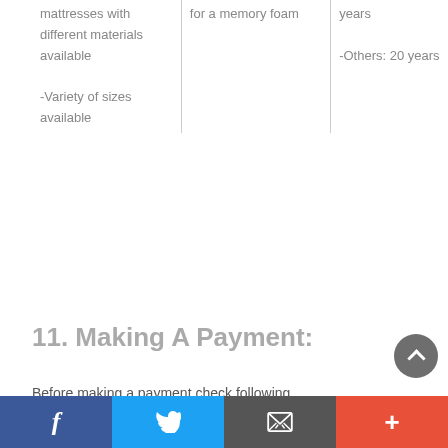|  |  |  |
| --- | --- | --- |
| mattresses with different materials available

-Variety of sizes available | for a memory foam | years

-Others: 20 years |
11. Making A Payment:
Before making a payment check following